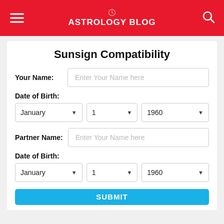ASTROLOGY BLOG
Sunsign Compatibility
Your Name: [Enter Your Name here]
Date of Birth: January | 1 | 1960
Partner Name: [Enter Your Name here]
Date of Birth: January | 1 | 1960
SUBMIT